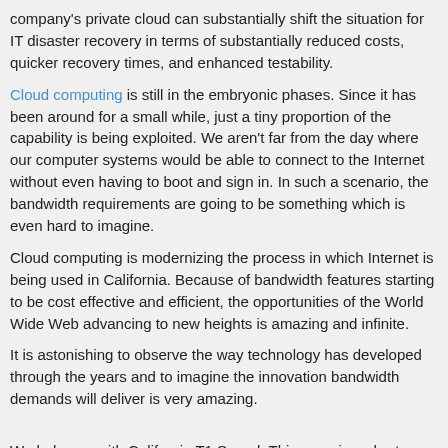company's private cloud can substantially shift the situation for IT disaster recovery in terms of substantially reduced costs, quicker recovery times, and enhanced testability.
Cloud computing is still in the embryonic phases. Since it has been around for a small while, just a tiny proportion of the capability is being exploited. We aren't far from the day where our computer systems would be able to connect to the Internet without even having to boot and sign in. In such a scenario, the bandwidth requirements are going to be something which is even hard to imagine.
Cloud computing is modernizing the process in which Internet is being used in California. Because of bandwidth features starting to be cost effective and efficient, the opportunities of the World Wide Web advancing to new heights is amazing and infinite.
It is astonishing to observe the way technology has developed through the years and to imagine the innovation bandwidth demands will deliver is very amazing.
We help you with California T1 Speed. This page is a short summary of the products specifically offered by T1Market in Bel Air.